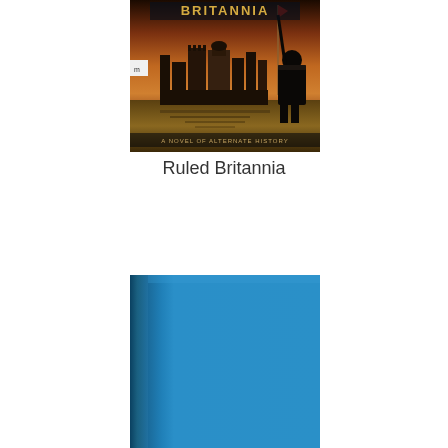[Figure (photo): Book cover of 'Ruled Britannia' - a novel of alternate history. Shows a dramatic scene with a medieval castle/Tower of London skyline reflected in water, orange-golden sky, and an armored knight holding a lance/spear on the right side. The word BRITANNIA appears at the top, and text reads 'A NOVEL OF ALTERNATE HISTORY' at the bottom.]
Ruled Britannia
[Figure (photo): Plain solid blue/teal hardcover book with a visible spine on the left side. No text or imagery visible on the cover.]